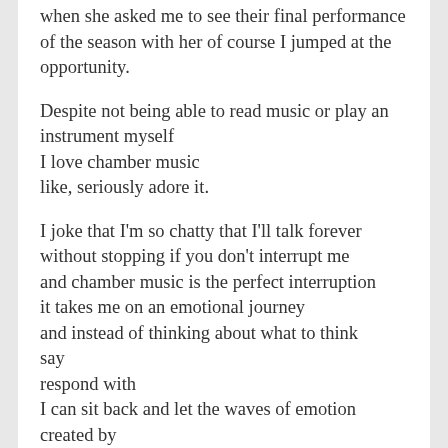when she asked me to see their final performance of the season with her of course I jumped at the opportunity.
Despite not being able to read music or play an instrument myself
I love chamber music
like, seriously adore it.
I joke that I'm so chatty that I'll talk forever without stopping if you don't interrupt me
and chamber music is the perfect interruption
it takes me on an emotional journey
and instead of thinking about what to think
say
respond with
I can sit back and let the waves of emotion created by